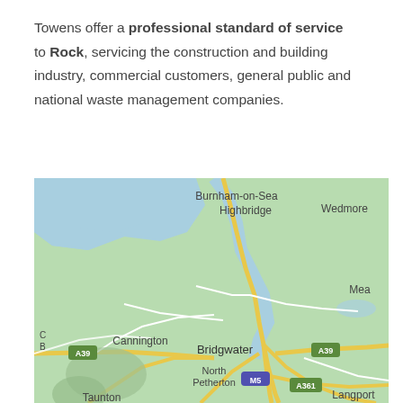Towens offer a professional standard of service to Rock, servicing the construction and building industry, commercial customers, general public and national waste management companies.
[Figure (map): Google Maps view showing the Bridgwater area in Somerset, England, including Burnham-on-Sea, Highbridge, Wedmore, Cannington, Bridgwater, North Petherton, Langport, Taunton, with road labels A39, M5, A361.]